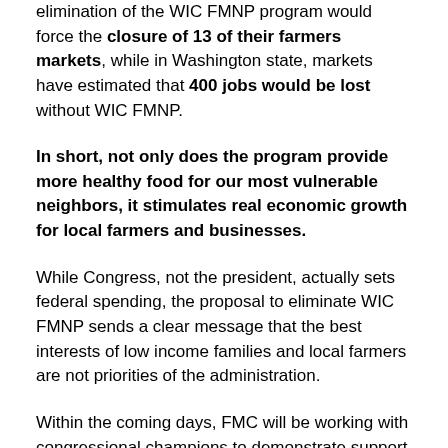elimination of the WIC FMNP program would force the closure of 13 of their farmers markets, while in Washington state, markets have estimated that 400 jobs would be lost without WIC FMNP.
In short, not only does the program provide more healthy food for our most vulnerable neighbors, it stimulates real economic growth for local farmers and businesses.
While Congress, not the president, actually sets federal spending, the proposal to eliminate WIC FMNP sends a clear message that the best interests of low income families and local farmers are not priorities of the administration.
Within the coming days, FMC will be working with congressional champions to demonstrate support for